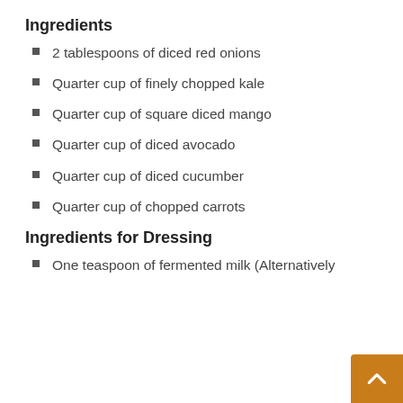Ingredients
2 tablespoons of diced red onions
Quarter cup of finely chopped kale
Quarter cup of square diced mango
Quarter cup of diced avocado
Quarter cup of diced cucumber
Quarter cup of chopped carrots
Ingredients for Dressing
One teaspoon of fermented milk (Alternatively